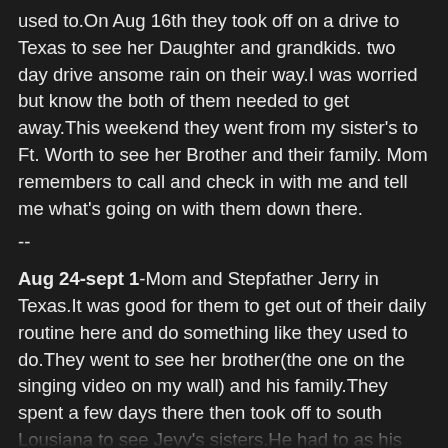used to.On Aug 16th they took off on a drive to Texas to see her Daughter and grandkids. two day drive ansome rain on their way.I was worried but know the both of them needed to get away.This weekend they went from my sister's to Ft. Worth to see her Brother and their family. Mom remembers to call and check in with me and tell me what's going on with them down there.
--
Aug 24-sept 1-Mom and Stepfather Jerry in Texas.It was good for them to get out of their daily routine here and do something like they used to do.They went to see her brother(the one on the singing video on my wall) and his family.They spent a few days there then took off to south Lousiana to see Jeyy's sisters.He had to as his one sis, who is in a nursing home, and not doing well. From there back to commerce, tx to my sister's for a few more days.I don't know how she did out of normal surroundings but I am hoping ok. I talked to her almost everyday and she sounded pretty good.They returned back to Baltimore